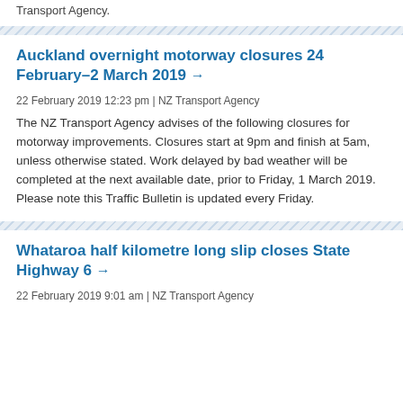Transport Agency.
Auckland overnight motorway closures 24 February–2 March 2019 →
22 February 2019 12:23 pm | NZ Transport Agency
The NZ Transport Agency advises of the following closures for motorway improvements. Closures start at 9pm and finish at 5am, unless otherwise stated. Work delayed by bad weather will be completed at the next available date, prior to Friday, 1 March 2019. Please note this Traffic Bulletin is updated every Friday.
Whataroa half kilometre long slip closes State Highway 6 →
22 February 2019 9:01 am | NZ Transport Agency